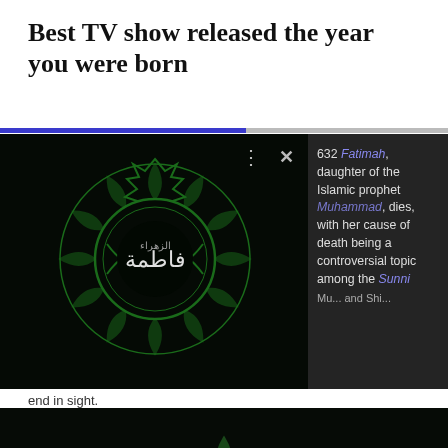Best TV show released the year you were born
[Figure (screenshot): Islamic calligraphic emblem in green on black background, with three-dot menu and X close button visible. Right side shows Wikipedia tooltip about Fatimah, year 632, daughter of the Islamic prophet Muhammad, dies, with her cause of death being a controversial topic among the Sunni Muslims and Shia.]
end in sight.
[Figure (photo): Partial Islamic calligraphic emblem in green on black background, lower portion visible, with cookie consent icon at bottom left and close X button at bottom right.]